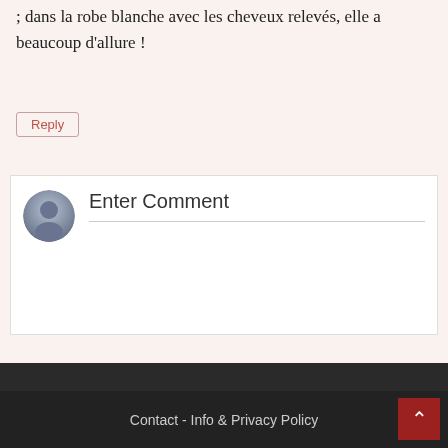; dans la robe blanche avec les cheveux relevés, elle a beaucoup d'allure !
Reply
Enter Comment
‹ Previous Post
Next Post ›
Contact - Info & Privacy Policy